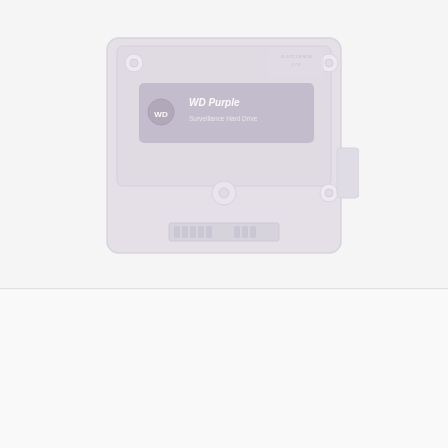[Figure (photo): WD Purple 3.5 inch hard disk drive (HDD) viewed from top, showing the purple label with WD Purple branding and Surveillance Hard Drive text, with circular mounting holes visible]
Western Digital Purple 2TB 3.5 Inch SATA 5400RPM Surveillance HDD
6,050.00   5,500.00